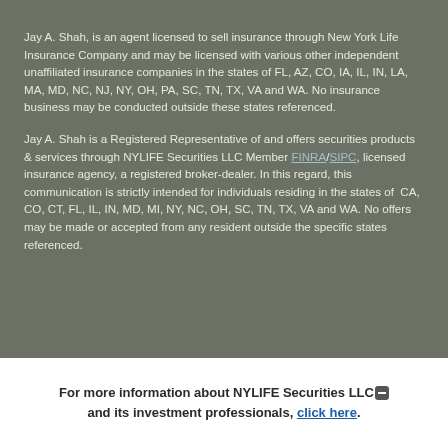Jay A. Shah, is an agent licensed to sell insurance through New York Life Insurance Company and may be licensed with various other independent unaffiliated insurance companies in the states of FL, AZ, CO, IA, IL, IN, LA, MA, MD, NC, NJ, NY, OH, PA, SC, TN, TX, VA and WA. No insurance business may be conducted outside these states referenced.
Jay A. Shah is a Registered Representative of and offers securities products & services through NYLIFE Securities LLC Member FINRA/SIPC, licensed insurance agency, a registered broker-dealer. In this regard, this communication is strictly intended for individuals residing in the states of CA, CO, CT, FL, IL, IN, MD, MI, NY, NC, OH, SC, TN, TX, VA and WA. No offers may be made or accepted from any resident outside the specific states referenced.
For more information about NYLIFE Securities LLC and its investment professionals, click here.